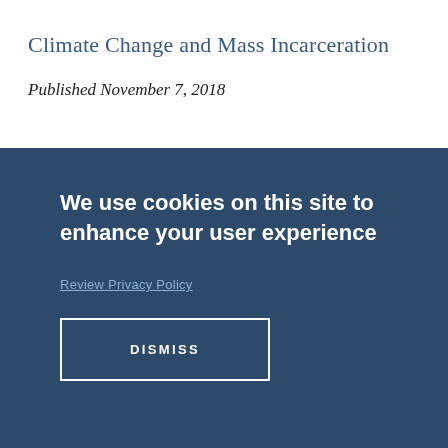Climate Change and Mass Incarceration
Published November 7, 2018
We use cookies on this site to enhance your user experience
Review Privacy Policy
DISMISS